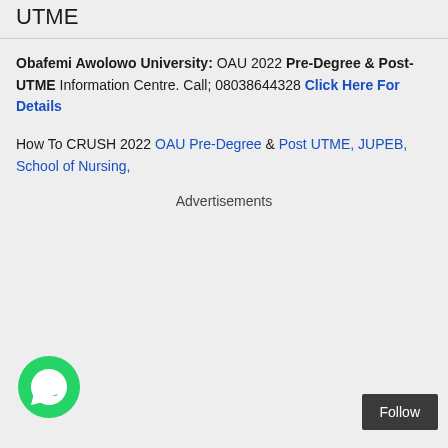UTME
Obafemi Awolowo University: OAU 2022 Pre-Degree & Post-UTME Information Centre. Call; 08038644328 Click Here For Details
How To CRUSH 2022 OAU Pre-Degree & Post UTME, JUPEB, School of Nursing,
Advertisements
[Figure (logo): WhatsApp icon button - green circle with white phone handset]
Follow